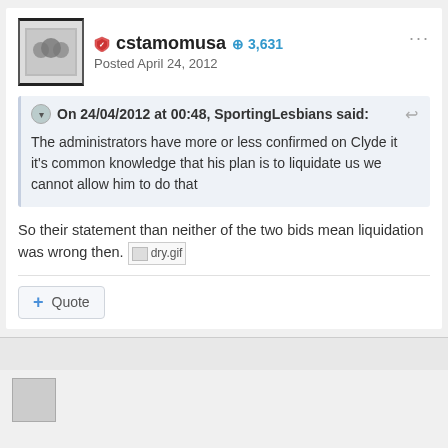cstamomusa  +3,631
Posted April 24, 2012
On 24/04/2012 at 00:48, SportingLesbians said:
The administrators have more or less confirmed on Clyde it it's common knowledge that his plan is to liquidate us we cannot allow him to do that
So their statement than neither of the two bids mean liquidation was wrong then. [dry.gif]
+ Quote